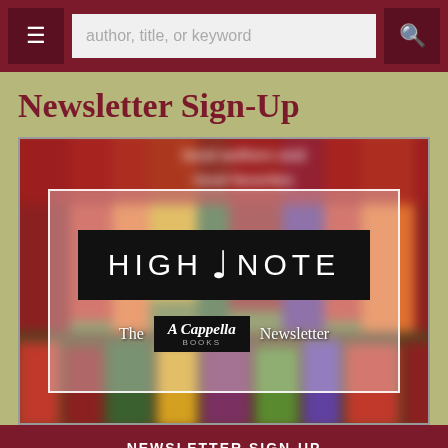author, title, or keyword
Newsletter Sign-Up
[Figure (screenshot): Newsletter signup banner image showing 'HIGH NOTE - The A Cappella Books Newsletter' logo overlaid on a blurred bookstore background]
NEWSLETTER SIGN-UP